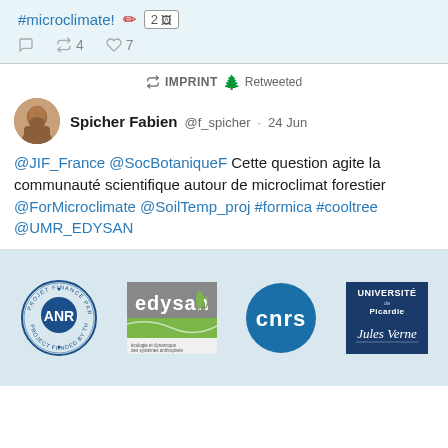#microclimate! 🖊 2 🖼
↩4  ♡7
↩ IMPRINT 🌲 Retweeted
Spicher Fabien @f_spicher · 24 Jun
@JIF_France @SocBotaniqueF Cette question agite la communauté scientifique autour de microclimat forestier @ForMicroclimate @SoilTemp_proj #formica #cooltree @UMR_EDYSAN
[Figure (logo): ANR project funded logo - circular stamp with ANR blue circle inside]
[Figure (logo): Edysan logo - gray and green with leaf motif and text écologie et dynamique des systèmes anthropisés]
[Figure (logo): CNRS logo - dark blue circle with white cnrs text]
[Figure (logo): Université de Picardie Jules Verne logo - dark blue square with white text and signature]